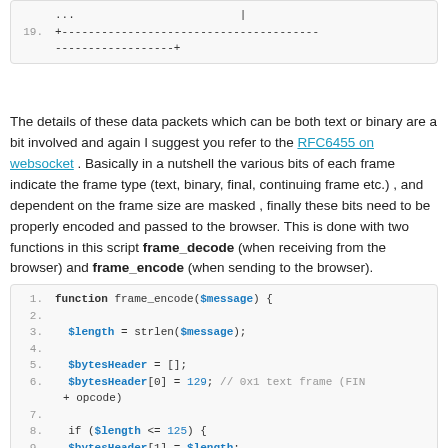[Figure (screenshot): Code snippet showing line 19 with ASCII art table border characters: '...' and '+---...---+' lines]
The details of these data packets which can be both text or binary are a bit involved and again I suggest you refer to the RFC6455 on websocket . Basically in a nutshell the various bits of each frame indicate the frame type (text, binary, final, continuing frame etc.) , and dependent on the frame size are masked , finally these bits need to be properly encoded and passed to the browser. This is done with two functions in this script frame_decode (when receiving from the browser) and frame_encode (when sending to the browser).
[Figure (screenshot): PHP code block showing frame_encode function lines 1-10]